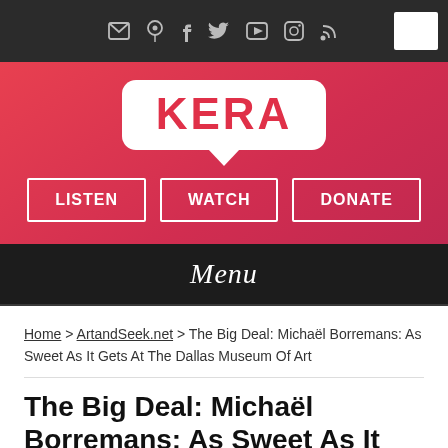[Figure (screenshot): KERA website header with social icons top bar, KERA logo in white speech bubble on red gradient background, LISTEN/WATCH/DONATE navigation buttons, and Menu bar]
KERA
Home > ArtandSeek.net > The Big Deal: Michaël Borremans: As Sweet As It Gets At The Dallas Museum Of Art
The Big Deal: Michaël Borremans: As Sweet As It